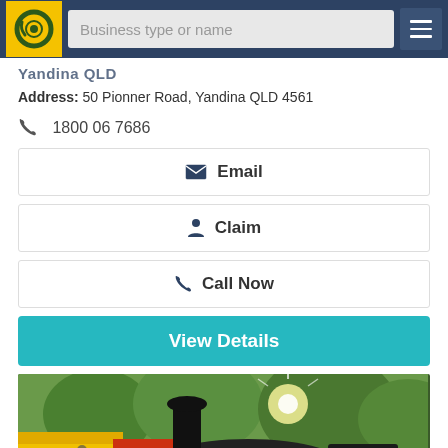[Figure (screenshot): Website navigation bar with yellow/green spiral logo, search input reading 'Business type or name', and dark blue hamburger menu button]
Yandina QLD
Address: 50 Pionner Road, Yandina QLD 4561
1800 06 7686
Email
Claim
Call Now
View Details
[Figure (photo): Vintage black steam locomotive (engine number 01) in an outdoor setting with trees, bright sunshine lens flare, and colorful fair/market stalls in the background including yellow and red structures]